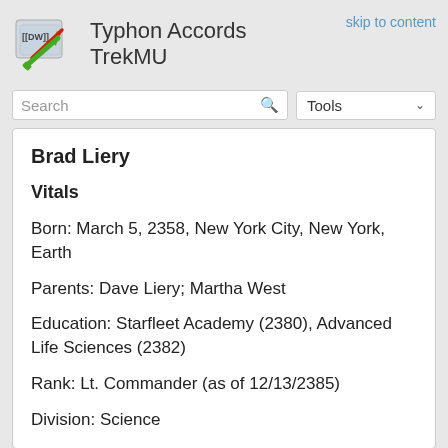Typhon Accords TrekMU
skip to content
Brad Liery
Vitals
Born: March 5, 2358, New York City, New York, Earth
Parents: Dave Liery; Martha West
Education: Starfleet Academy (2380), Advanced Life Sciences (2382)
Rank: Lt. Commander (as of 12/13/2385)
Division: Science